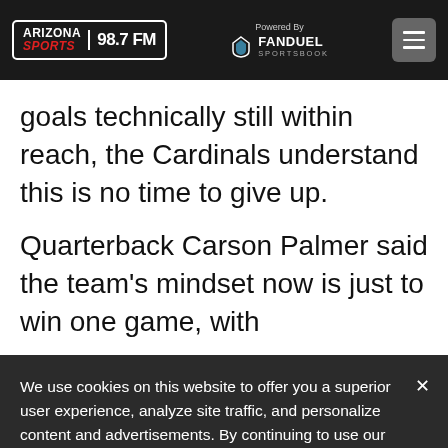Arizona Sports 98.7 FM — Powered By FanDuel Sportsbook
goals technically still within reach, the Cardinals understand this is no time to give up.
Quarterback Carson Palmer said the team's mindset now is just to win one game, with
We use cookies on this website to offer you a superior user experience, analyze site traffic, and personalize content and advertisements. By continuing to use our site, you consent to our use of cookies. Please visit our Privacy Policy for more information.
Accept Cookies